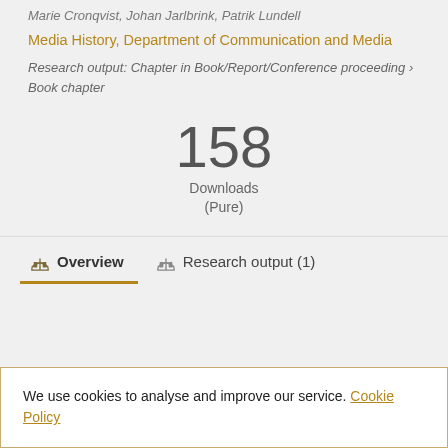Marie Cronqvist, Johan Jarlbrink, Patrik Lundell
Media History, Department of Communication and Media
Research output: Chapter in Book/Report/Conference proceeding › Book chapter
158 Downloads (Pure)
Overview
Research output (1)
We use cookies to analyse and improve our service. Cookie Policy